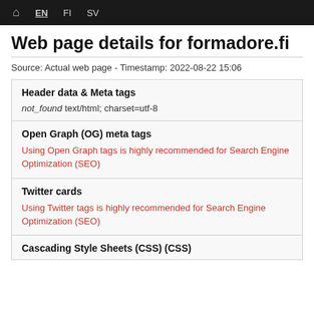🏠 EN FI SV
Web page details for formadore.fi
Source: Actual web page - Timestamp: 2022-08-22 15:06
Header data & Meta tags
not_found text/html; charset=utf-8
Open Graph (OG) meta tags
Using Open Graph tags is highly recommended for Search Engine Optimization (SEO)
Twitter cards
Using Twitter tags is highly recommended for Search Engine Optimization (SEO)
Cascading Style Sheets (CSS) (CSS)